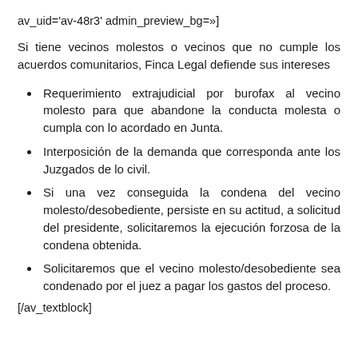av_uid='av-48r3' admin_preview_bg=»]
Si tiene vecinos molestos o vecinos que no cumple los acuerdos comunitarios, Finca Legal defiende sus intereses
Requerimiento extrajudicial por burofax al vecino molesto para que abandone la conducta molesta o cumpla con lo acordado en Junta.
Interposición de la demanda que corresponda ante los Juzgados de lo civil.
Si una vez conseguida la condena del vecino molesto/desobediente, persiste en su actitud, a solicitud del presidente, solicitaremos la ejecución forzosa de la condena obtenida.
Solicitaremos que el vecino molesto/desobediente sea condenado por el juez a pagar los gastos del proceso.
[/av_textblock]